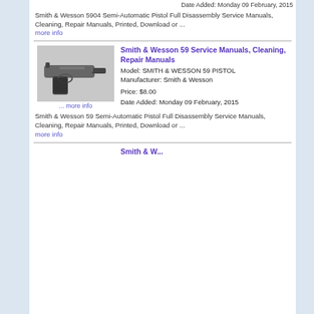Date Added: Monday 09 February, 2015
Smith & Wesson 5904 Semi-Automatic Pistol Full Disassembly Service Manuals, Cleaning, Repair Manuals, Printed, Download or ... more info
[Figure (photo): Photo of a Smith & Wesson 59 semi-automatic pistol, dark finish, shown from the right side]
Smith & Wesson 59 Service Manuals, Cleaning, Repair Manuals
Model: SMITH & WESSON 59 PISTOL
Manufacturer: Smith & Wesson
Price: $8.00
Date Added: Monday 09 February, 2015
... more info
Smith & Wesson 59 Semi-Automatic Pistol Full Disassembly Service Manuals, Cleaning, Repair Manuals, Printed, Download or ... more info